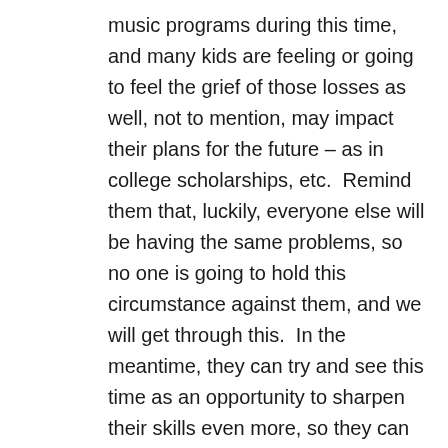music programs during this time, and many kids are feeling or going to feel the grief of those losses as well, not to mention, may impact their plans for the future – as in college scholarships, etc.  Remind them that, luckily, everyone else will be having the same problems, so no one is going to hold this circumstance against them, and we will get through this.  In the meantime, they can try and see this time as an opportunity to sharpen their skills even more, so they can hit the ground running when everything starts back up.